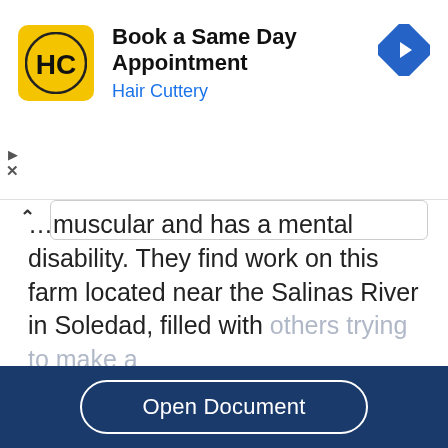[Figure (screenshot): Hair Cuttery advertisement banner: yellow square logo with HC monogram, bold text 'Book a Same Day Appointment', blue subtitle 'Hair Cuttery', blue diamond navigation icon on the right, play and close controls on the left side]
…muscular and has a mental disability. They find work on this farm located near the Salinas River in Soledad, filled with others trying to make a living. George and Lennie want to start a farm filled with many animals but…
Read More
Open Document